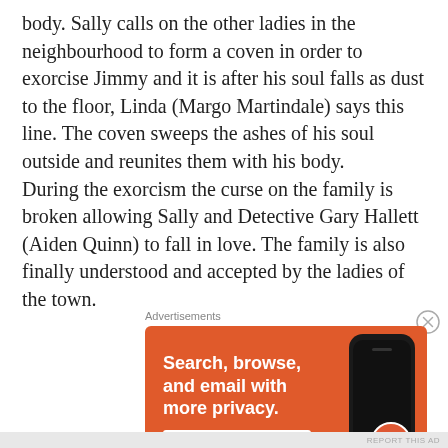body. Sally calls on the other ladies in the neighbourhood to form a coven in order to exorcise Jimmy and it is after his soul falls as dust to the floor, Linda (Margo Martindale) says this line. The coven sweeps the ashes of his soul outside and reunites them with his body. During the exorcism the curse on the family is broken allowing Sally and Detective Gary Hallett (Aiden Quinn) to fall in love. The family is also finally understood and accepted by the ladies of the town.
Advertisements
[Figure (other): DuckDuckGo advertisement banner on orange background. Text reads: 'Search, browse, and email with more privacy. All in One Free App'. Shows a smartphone on the right side with DuckDuckGo logo.]